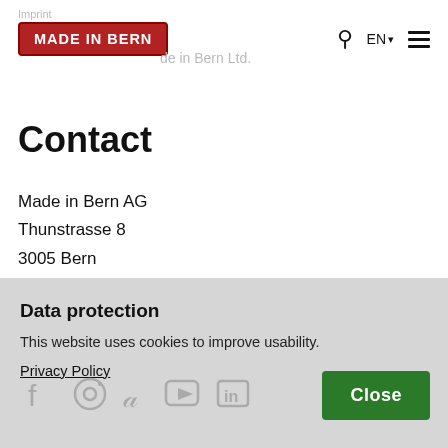Imprint | Made in Bern Ltd.
Contact
Made in Bern AG
Thunstrasse 8
3005 Bern
T +41 31 300 33 00
info@madeinbern.com
Contact us
Data protection
This website uses cookies to improve usability.
Privacy Policy